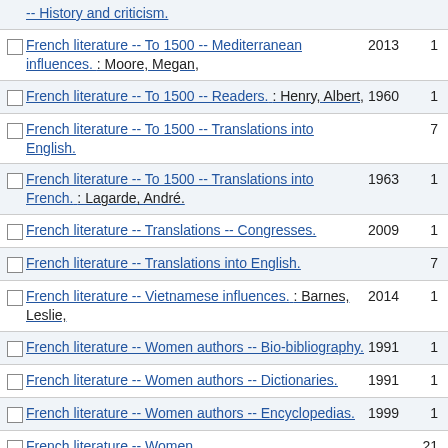-- History and criticism.
French literature -- To 1500 -- Mediterranean influences. : Moore, Megan, 2013 1
French literature -- To 1500 -- Readers. : Henry, Albert, 1960 1
French literature -- To 1500 -- Translations into English. 7
French literature -- To 1500 -- Translations into French. : Lagarde, André. 1963 1
French literature -- Translations -- Congresses. 2009 1
French literature -- Translations into English. 7
French literature -- Vietnamese influences. : Barnes, Leslie, 2014 1
French literature -- Women authors -- Bio-bibliography. 1991 1
French literature -- Women authors -- Dictionaries. 1991 1
French literature -- Women authors -- Encyclopedias. 1999 1
French literature -- Women 21